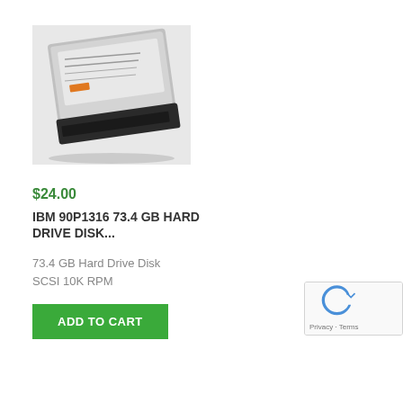[Figure (photo): A 2.5-inch SCSI hard drive disk with orange connector detail and black connector port at the bottom, shown on a white background.]
$24.00
IBM 90P1316 73.4 GB HARD DRIVE DISK...
73.4 GB Hard Drive Disk
SCSI 10K RPM
[Figure (other): reCAPTCHA widget showing Privacy - Terms]